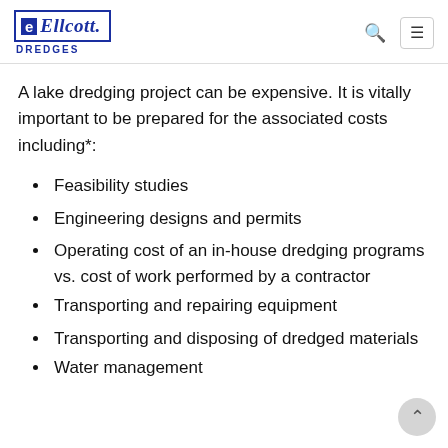Ellicott Dredges
A lake dredging project can be expensive. It is vitally important to be prepared for the associated costs including*:
Feasibility studies
Engineering designs and permits
Operating cost of an in-house dredging programs vs. cost of work performed by a contractor
Transporting and repairing equipment
Transporting and disposing of dredged materials
Water management